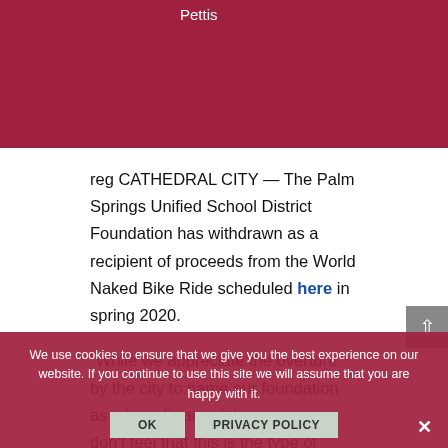Pettis
reg CATHEDRAL CITY — The Palm Springs Unified School District Foundation has withdrawn as a recipient of proceeds from the World Naked Bike Ride scheduled here in spring 2020.
“While we appreciate the overture by the city to name our foundation as a beneficiary of the event, we don’t feel that this is the type of event that best aligns with
We use cookies to ensure that we give you the best experience on our website. If you continue to use this site we will assume that you are happy with it.